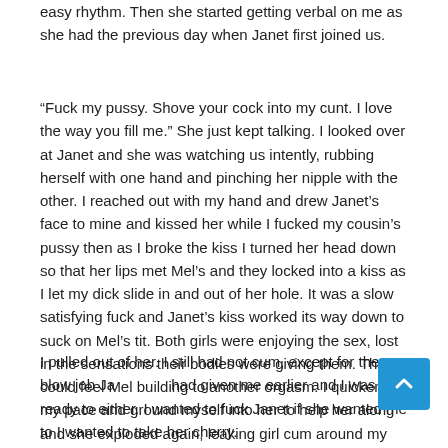easy rhythm. Then she started getting verbal on me as she had the previous day when Janet first joined us.
“Fuck my pussy. Shove your cock into my cunt. I love the way you fill me.” She just kept talking. I looked over at Janet and she was watching us intently, rubbing herself with one hand and pinching her nipple with the other. I reached out with my hand and drew Janet’s face to mine and kissed her while I fucked my cousin’s pussy then as I broke the kiss I turned her head down so that her lips met Mel’s and they locked into a kiss as I let my dick slide in and out of her hole. It was a slow satisfying fuck and Janet’s kiss worked its way down to suck on Mel’s tit. Both girls were enjoying the sex, lost in the sensations their bodies were giving them. Then I could feel Mel building to another orgasm. I quickened my pace and ground myself into her to help her along and she exploded again, leaking girl cum around my cock.
I pulled out of her. I still had not cum, except for the blow job Janet had given me earlier and I was not ready to either. I wanted to fuck Janet if she wanted me to I wanted to take her cherry.